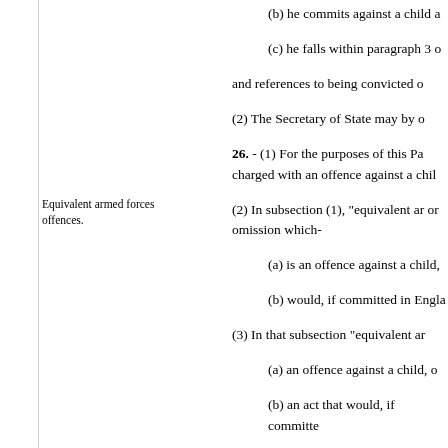(b) he commits against a child a
(c) he falls within paragraph 3 o
and references to being convicted o
(2) The Secretary of State may by o
Equivalent armed forces offences.
26. - (1) For the purposes of this Pa charged with an offence against a chil
(2) In subsection (1), "equivalent ar or omission which-
(a) is an offence against a child,
(b) would, if committed in Engla
(3) In that subsection "equivalent ar
(a) an offence against a child, o
(b) an act that would, if committe